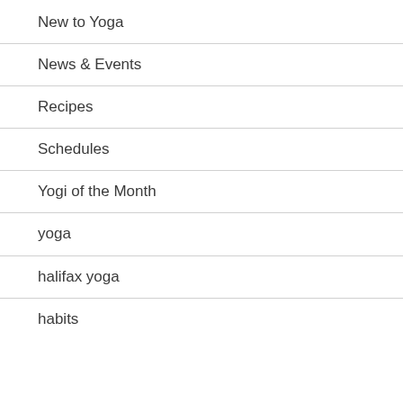New to Yoga
News & Events
Recipes
Schedules
Yogi of the Month
yoga
halifax yoga
habits